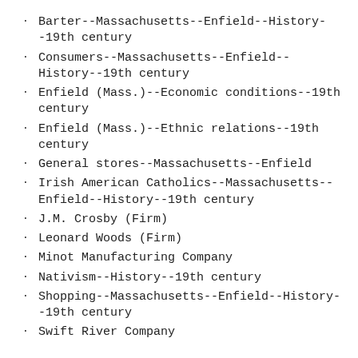Barter--Massachusetts--Enfield--History--19th century
Consumers--Massachusetts--Enfield--History--19th century
Enfield (Mass.)--Economic conditions--19th century
Enfield (Mass.)--Ethnic relations--19th century
General stores--Massachusetts--Enfield
Irish American Catholics--Massachusetts--Enfield--History--19th century
J.M. Crosby (Firm)
Leonard Woods (Firm)
Minot Manufacturing Company
Nativism--History--19th century
Shopping--Massachusetts--Enfield--History--19th century
Swift River Company
Contributors